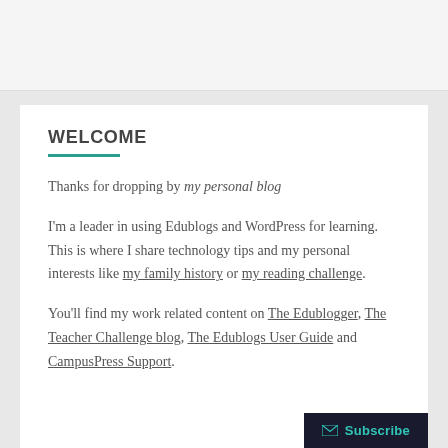WELCOME
Thanks for dropping by my personal blog
I'm a leader in using Edublogs and WordPress for learning. This is where I share technology tips and my personal interests like my family history or my reading challenge.
You'll find my work related content on The Edublogger, The Teacher Challenge blog, The Edublogs User Guide and CampusPress Support.